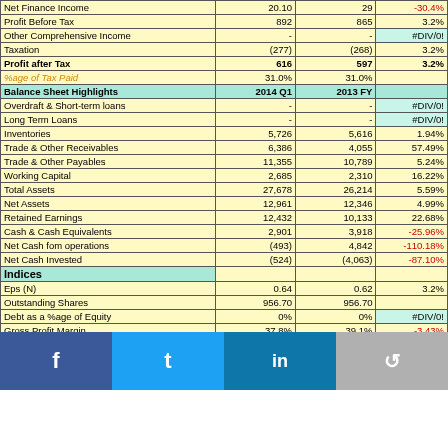|  | 2014 Q1 | 2013 FY |  |
| --- | --- | --- | --- |
| Net Finance Income | 20.10 | 29 | -30.4% |
| Profit Before Tax | 892 | 865 | 3.2% |
| Other Comprehensive Income | - | - | #DIV/0! |
| Taxation | (277) | (268) | 3.2% |
| Profit after Tax | 616 | 597 | 3.2% |
| %age of Tax Paid | 31.0% | 31.0% |  |
| Balance Sheet Highlights | 2014 Q1 | 2013 FY |  |
| Overdraft & Short-term loans | - | - | #DIV/0! |
| Long Term Loans | - | - | #DIV/0! |
| Inventories | 5,726 | 5,616 | 1.94% |
| Trade & Other Receivables | 6,386 | 4,055 | 57.49% |
| Trade & Other Payables | 11,355 | 10,789 | 5.24% |
| Working Capital | 2,685 | 2,310 | 16.22% |
| Total Assets | 27,678 | 26,214 | 5.59% |
| Net Assets | 12,961 | 12,346 | 4.99% |
| Retained Earnings | 12,432 | 10,133 | 22.68% |
| Cash & Cash Equivalents | 2,901 | 3,918 | -25.96% |
| Net Cash fom operations | (493) | 4,842 | -110.18% |
| Net Cash Invested | (524) | (4,063) | -87.10% |
| Indices |  |  |  |
| Eps (N) | 0.64 | 0.62 | 3.2% |
| Outstanding Shares | 956.70 | 956.70 |  |
| Debt as a %age of Equity | 0% | 0% | #DIV/0! |
| Gross Profit Margin | 37.8% | 39.1% | -3.43% |
| Operating Profit Margin | 11.1% | 11.9% | -6.12% |
| Profit Margin | 7.0% | 8.5% | -8.42% |